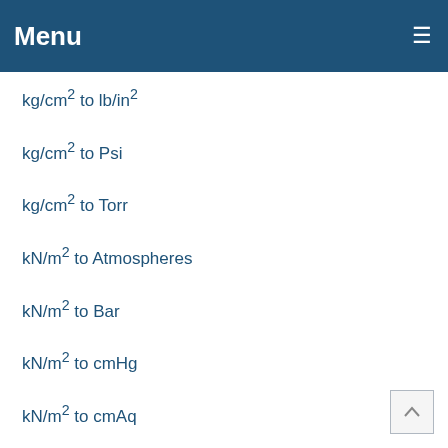Menu
kg/cm² to lb/in²
kg/cm² to Psi
kg/cm² to Torr
kN/m² to Atmospheres
kN/m² to Bar
kN/m² to cmHg
kN/m² to cmAq
kN/m² to Foot Water
kN/m² to Inch Mercury
kN/m² to Inch Water